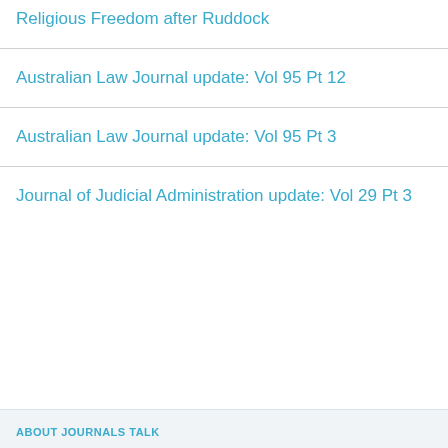Religious Freedom after Ruddock
Australian Law Journal update: Vol 95 Pt 12
Australian Law Journal update: Vol 95 Pt 3
Journal of Judicial Administration update: Vol 29 Pt 3
ABOUT JOURNALS TALK